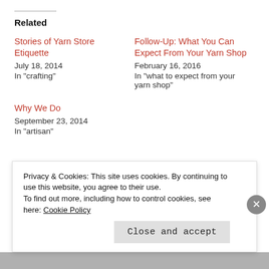Related
Stories of Yarn Store Etiquette
July 18, 2014
In "crafting"
Follow-Up: What You Can Expect From Your Yarn Shop
February 16, 2016
In "what to expect from your yarn shop"
Why We Do
September 23, 2014
In "artisan"
CRAFTING WITH NATURAL FIBERS   CROCHETING
Privacy & Cookies: This site uses cookies. By continuing to use this website, you agree to their use.
To find out more, including how to control cookies, see here: Cookie Policy
Close and accept